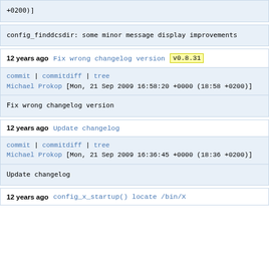+0200)]
config_finddcsdir: some minor message display improvements
12 years ago    Fix wrong changelog version   v0.8.31
commit | commitdiff | tree
Michael Prokop [Mon, 21 Sep 2009 16:58:20 +0000 (18:58 +0200)]
Fix wrong changelog version
12 years ago    Update changelog
commit | commitdiff | tree
Michael Prokop [Mon, 21 Sep 2009 16:36:45 +0000 (18:36 +0200)]
Update changelog
12 years ago    config_x_startup() locate /bin/X